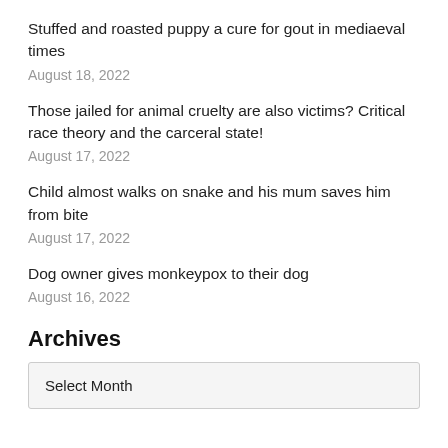Stuffed and roasted puppy a cure for gout in mediaeval times
August 18, 2022
Those jailed for animal cruelty are also victims? Critical race theory and the carceral state!
August 17, 2022
Child almost walks on snake and his mum saves him from bite
August 17, 2022
Dog owner gives monkeypox to their dog
August 16, 2022
Archives
Select Month